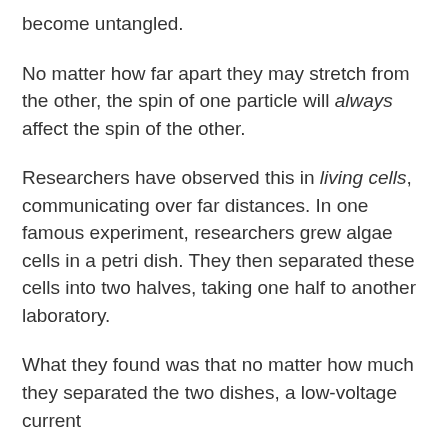become untangled.
No matter how far apart they may stretch from the other, the spin of one particle will always affect the spin of the other.
Researchers have observed this in living cells, communicating over far distances. In one famous experiment, researchers grew algae cells in a petri dish. They then separated these cells into two halves, taking one half to another laboratory.
What they found was that no matter how much they separated the two dishes, a low-voltage current applied on one dish would always affect the cells in the other dish in the exact same way at the exact